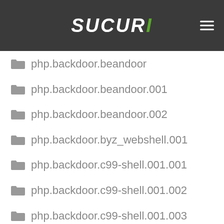SUCURI
php.backdoor.beandoor
php.backdoor.beandoor.001
php.backdoor.beandoor.002
php.backdoor.byz_webshell.001
php.backdoor.c99-shell.001.001
php.backdoor.c99-shell.001.002
php.backdoor.c99-shell.001.003
php.backdoor.c99-shell.001.04
php.backdoor.codenewbiecrew-shell.001